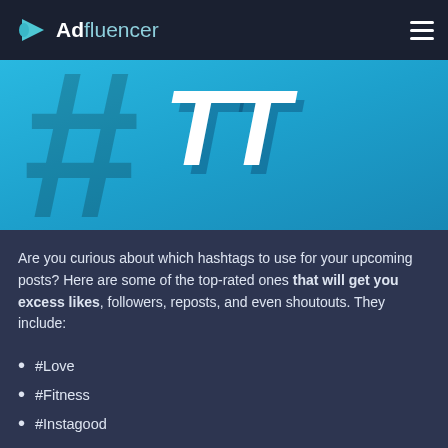Adfluencer
[Figure (illustration): Blue hero banner with large white bold italic 'TT' text and dark hashtag symbol in background]
Are you curious about which hashtags to use for your upcoming posts? Here are some of the top-rated ones that will get you excess likes, followers, reposts, and even shoutouts. They include:
#Love
#Fitness
#Instagood
#Style
#Fashion